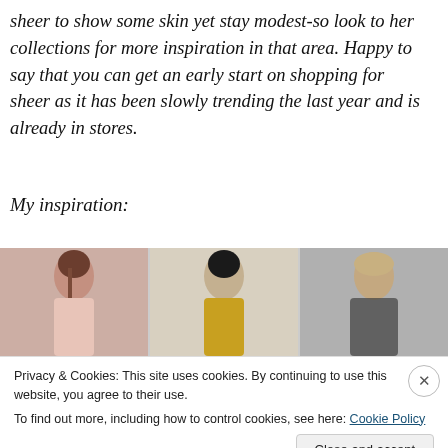sheer to show some skin yet stay modest-so look to her collections for more inspiration in that area. Happy to say that you can get an early start on shopping for sheer as it has been slowly trending the last year and is already in stores.
My inspiration:
[Figure (photo): Three fashion runway photos showing models in sheer clothing: left model in sheer pink top, center model in yellow printed dress, right model in sheer black top.]
Privacy & Cookies: This site uses cookies. By continuing to use this website, you agree to their use. To find out more, including how to control cookies, see here: Cookie Policy